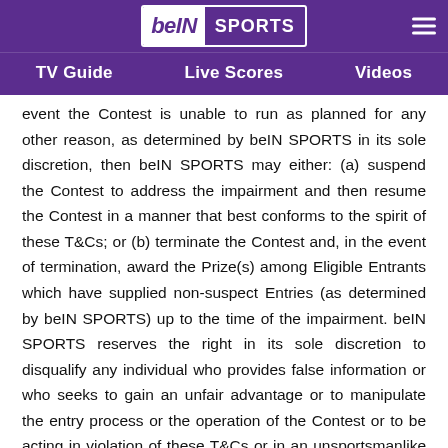beIN SPORTS — TV Guide | Live Scores | Videos
event the Contest is unable to run as planned for any other reason, as determined by beIN SPORTS in its sole discretion, then beIN SPORTS may either: (a) suspend the Contest to address the impairment and then resume the Contest in a manner that best conforms to the spirit of these T&Cs; or (b) terminate the Contest and, in the event of termination, award the Prize(s) among Eligible Entrants which have supplied non-suspect Entries (as determined by beIN SPORTS) up to the time of the impairment. beIN SPORTS reserves the right in its sole discretion to disqualify any individual who provides false information or who seeks to gain an unfair advantage or to manipulate the entry process or the operation of the Contest or to be acting in violation of these T&Cs or in an unsportsmanlike or disruptive